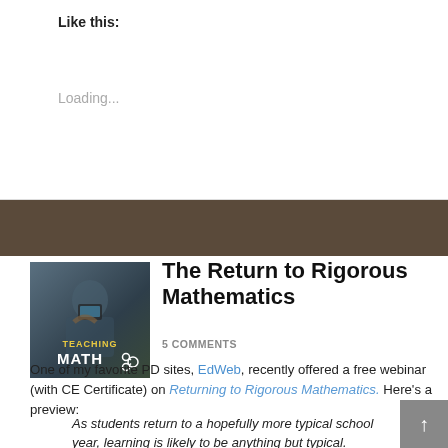Like this:
Loading...
[Figure (photo): Thumbnail image showing a person holding a phone with a backpack, overlaid with text 'TEACHING MATH' and a share icon]
The Return to Rigorous Mathematics
5 COMMENTS
One of my favorite PD sites, EdWeb, recently offered a free webinar (with CE Certificate) on Returning to Rigorous Mathematics. Here's a preview:
As students return to a hopefully more typical school year, learning is likely to be anything but typical. Student and teacher experiences over the past 18 months have varied greatly and classrooms are filled with students representing a wider range of learning needs than ever before. The challenge for teachers